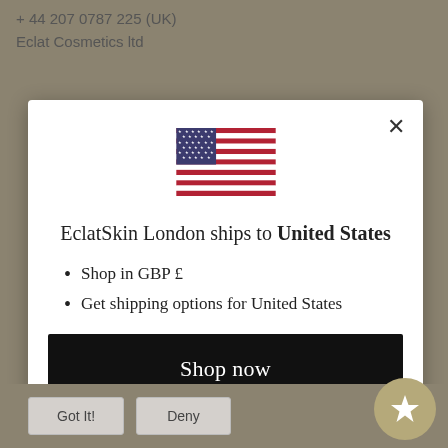+ 44 207 0787 225 (UK)
Eclat Cosmetics ltd
[Figure (screenshot): Modal dialog showing US flag and shipping info for EclatSkin London]
EclatSkin London ships to United States
Shop in GBP £
Get shipping options for United States
Shop now
Change shipping country